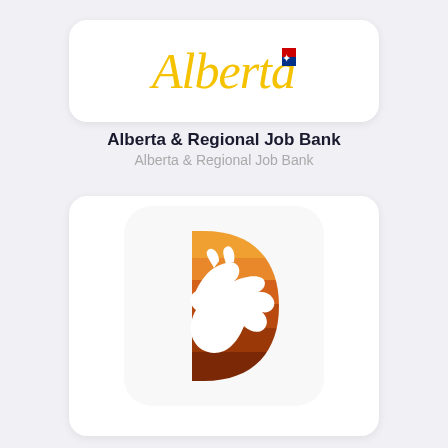[Figure (logo): Alberta government logo with stylized script text 'Alberta' in yellow/gold cursive with a small Canadian flag symbol]
Alberta & Regional Job Bank
Alberta & Regional Job Bank
[Figure (logo): Town of Drumheller logo: a stylized letter D shape in gradient oranges and browns with a dinosaur (triceratops) silhouette in white]
Town of Drumheller
Town of Drumheller